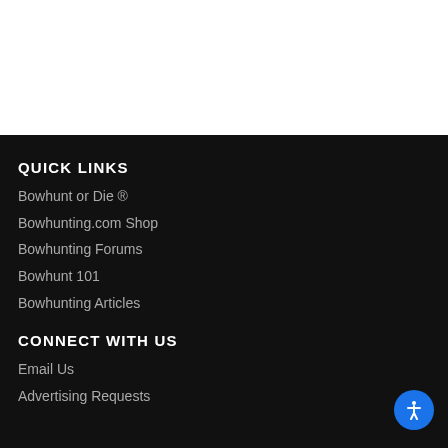QUICK LINKS
Bowhunt or Die ®
Bowhunting.com Shop
Bowhunting Forums
Bowhunt 101
Bowhunting Articles
CONNECT WITH US
Email Us
Advertising Requests